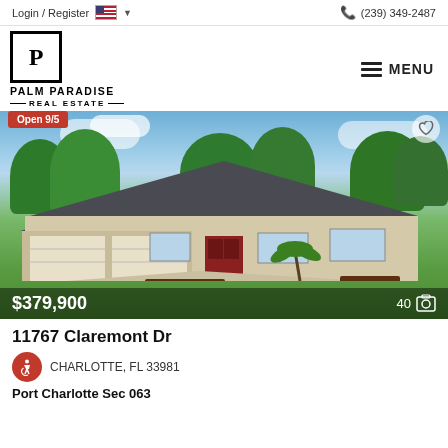Login / Register   (239) 349-2487
[Figure (logo): Palm Paradise Real Estate logo with stylized P in a square box]
MENU
[Figure (photo): Single-story Florida home with two-car garage, dark roof, red front door, and landscaped lawn. Open 9/5 badge visible. Price $379,900, 40 photos.]
11767 Claremont Dr
CHARLOTTE, FL 33981
Port Charlotte Sec 063